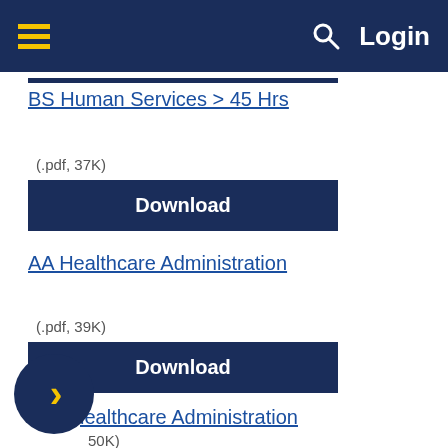Login
BS Human Services > 45 Hrs
(.pdf, 37K)
Download
AA Healthcare Administration
(.pdf, 39K)
Download
lealthcare Administration
50K)